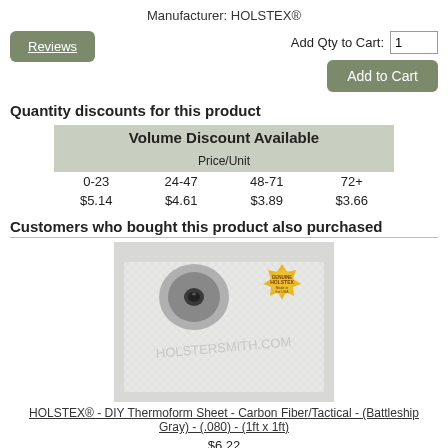Manufacturer: HOLSTEX®
Reviews
Add Qty to Cart: 1
Add to Cart
Quantity discounts for this product
| Volume Discount Available |  |  |  |
| --- | --- | --- | --- |
| Price/Unit |  |  |  |
| 0-23 | 24-47 | 48-71 | 72+ |
| $5.14 | $4.61 | $3.89 | $3.66 |
Customers who bought this product also purchased
[Figure (photo): Product photo of HOLSTEX thermoform sheet with carbon fiber/tactical pattern in battleship gray, showing a dark snap/eyelet and a gold HOLSTEX seal badge, with watermark HOLSTERSMITH.COM]
HOLSTEX® - DIY Thermoform Sheet - Carbon Fiber/Tactical - (Battleship Gray) - (.080) - (1ft x 1ft)
$6.22
View
Buy